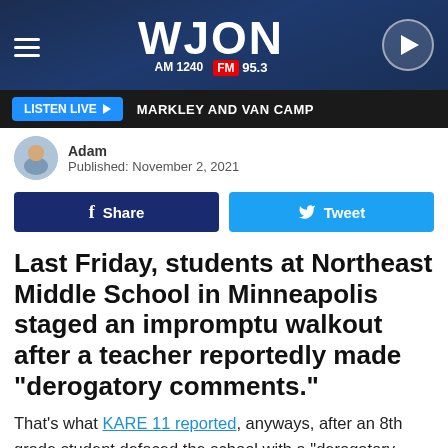WJON AM 1240 FM 95.3
LISTEN LIVE  MARKLEY AND VAN CAMP
Adam
Published: November 2, 2021
Share   Tweet
Last Friday, students at Northeast Middle School in Minneapolis staged an impromptu walkout after a teacher reportedly made "derogatory comments."
That's what KARE 11 reported, anyways, after an 8th grade student defaced the school with a "derogatory racial slur"